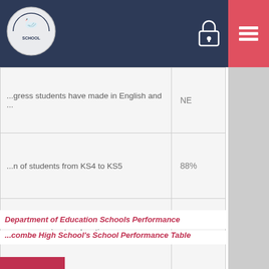School logo and navigation header
| Description | Value |
| --- | --- |
| ...gress students have made in English and ... | NE |
| ...n of students from KS4 to KS5 | 88% |
| ...s progressing to education or ...ment after KS5 | 96% |
Department of Education Schools Performance
...combe High School's School Performance Table